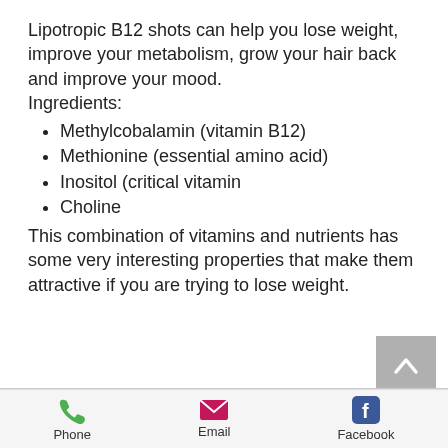Lipotropic B12 shots can help you lose weight, improve your metabolism, grow your hair back and improve your mood. Ingredients:
Methylcobalamin (vitamin B12)
Methionine (essential amino acid)
Inositol (critical vitamin
Choline
This combination of vitamins and nutrients has some very interesting properties that make them attractive if you are trying to lose weight.
Phone  Email  Facebook